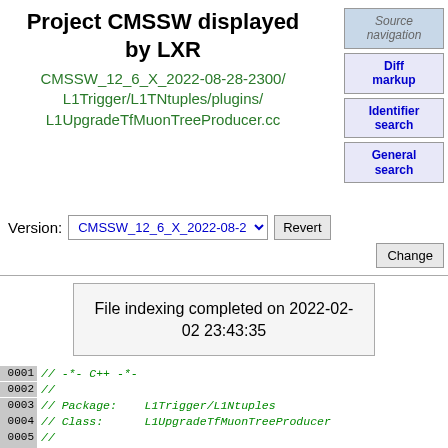Project CMSSW displayed by LXR
CMSSW_12_6_X_2022-08-28-2300/ L1Trigger/L1TNtuples/plugins/ L1UpgradeTfMuonTreeProducer.cc
Source navigation
Diff markup
Identifier search
General search
Version: CMSSW_12_6_X_2022-08-28-2300 ▾  Revert  Change
File indexing completed on 2022-02-02 23:43:35
0001 // -*- C++ -*-
0002 //
0003 // Package:    L1Trigger/L1Ntuples
0004 // Class:      L1UpgradeTfMuonTreeProducer
0005 //
0006 /**\class L1UpgradeTfMuonTreeProducer L1UpgradeTfMu...
0007
0008 Description:[...]